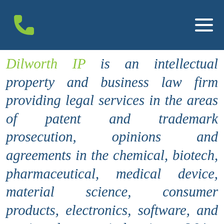Dilworth IP — navigation header with phone icon and hamburger menu
Dilworth IP is an intellectual property and business law firm providing legal services in the areas of patent and trademark prosecution, opinions and agreements in the chemical, biotech, pharmaceutical, medical device, material science, consumer products, electronics, software, and semiconductor industries. We've been in the lab. Whether your invention is a controlled-release pharmaceutical, a fuel cell, or a new circuit schematic, our attorneys will speak your language and listen well. We'll quickly grasp nuances of your